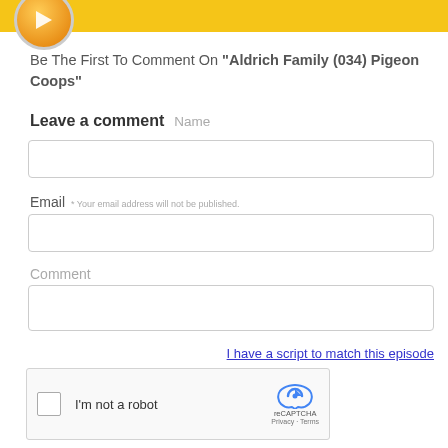[Figure (other): Orange circular icon with arrow/play symbol on a yellow banner background at the top of the page]
Be The First To Comment On "Aldrich Family (034) Pigeon Coops"
Leave a comment  Name
Email  * Your email address will not be published.
Comment
I have a script to match this episode
[Figure (other): reCAPTCHA widget with checkbox labeled I'm not a robot and reCAPTCHA logo with Privacy and Terms links]